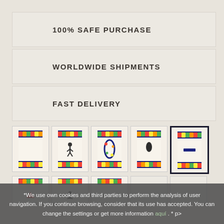100% SAFE PURCHASE
WORLDWIDE SHIPMENTS
FAST DELIVERY
[Figure (photo): Row of 5 product thumbnail images showing decorative tiles with colorful mosaic borders; the 5th one is selected with a bold border]
[Figure (photo): Second row of partially visible thumbnail images]
We use own cookies and third parties to perform the analysis of user navigation. If you continue browsing, consider that its use has accepted. You can change the settings or get more information aquí . * p>